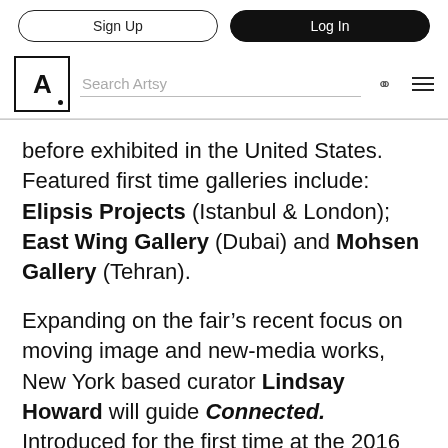Sign Up | Log In
[Figure (logo): Artsy logo — letter A in a square box with a dot]
before exhibited in the United States. Featured first time galleries include: Elipsis Projects (Istanbul & London); East Wing Gallery (Dubai) and Mohsen Gallery (Tehran).
Expanding on the fair’s recent focus on moving image and new-media works, New York based curator Lindsay Howard will guide Connected. Introduced for the first time at the 2016 edition of PHOTOFAIRS | Shanghai, this sector will showcase